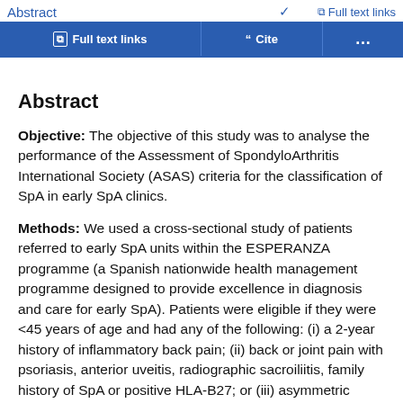Abstract | Full text links | Cite | ...
Abstract
Objective: The objective of this study was to analyse the performance of the Assessment of SpondyloArthritis International Society (ASAS) criteria for the classification of SpA in early SpA clinics.
Methods: We used a cross-sectional study of patients referred to early SpA units within the ESPERANZA programme (a Spanish nationwide health management programme designed to provide excellence in diagnosis and care for early SpA). Patients were eligible if they were <45 years of age and had any of the following: (i) a 2-year history of inflammatory back pain; (ii) back or joint pain with psoriasis, anterior uveitis, radiographic sacroiliitis, family history of SpA or positive HLA-B27; or (iii) asymmetric arthritis. We excluded patients for whom